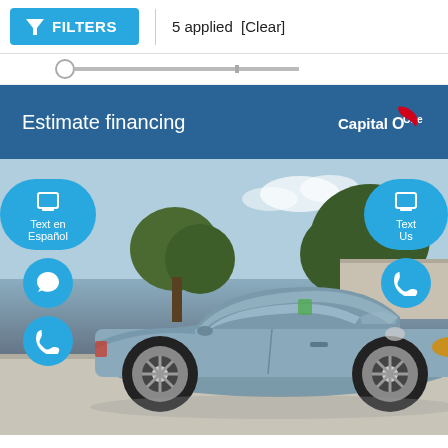FILTERS  |  5 applied  [Clear]
Estimate financing
[Figure (screenshot): Capital One logo — white text with red swoosh]
[Figure (photo): Photo of a blue-grey Toyota Camry sedan parked on a lot, with trees and a building in the background. Floating buttons on left: phone icon 'Text en Español', chat icon, phone icon. Floating buttons on right: phone icon 'Text Us', phone icon.]